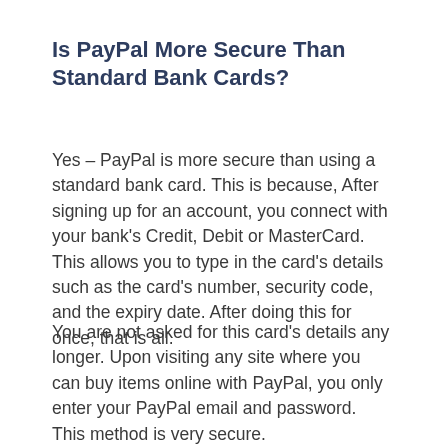Is PayPal More Secure Than Standard Bank Cards?
Yes – PayPal is more secure than using a standard bank card. This is because, After signing up for an account, you connect with your bank's Credit, Debit or MasterCard. This allows you to type in the card's details such as the card's number, security code, and the expiry date. After doing this for once, that is all.
You are not asked for this card's details any longer. Upon visiting any site where you can buy items online with PayPal, you only enter your PayPal email and password. This method is very secure.